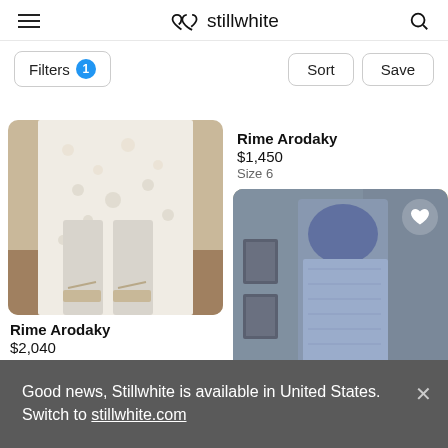stillwhite
Filters 1   Sort   Save
[Figure (photo): Close-up of bride's lower body wearing a floral lace gown and strappy sandals outdoors]
Rime Arodaky
$1,450
Size 6
Rime Arodaky
$2,040
Size 4 • Save 32%
[Figure (photo): Blue-grey lace/embroidered dress hanging on a wall in a room with warm lighting]
[Figure (photo): Partially visible product image at the bottom left]
Good news, Stillwhite is available in United States. Switch to stillwhite.com